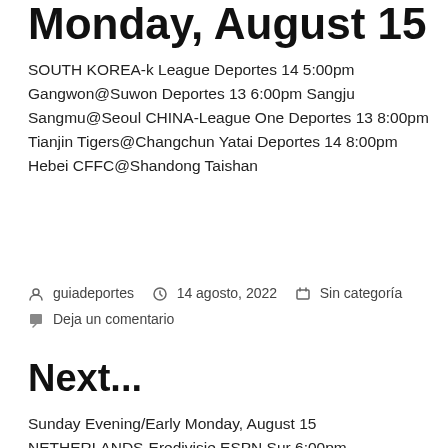Monday, August 15
SOUTH KOREA-k League Deportes 14 5:00pm Gangwon@Suwon Deportes 13 6:00pm Sangju Sangmu@Seoul CHINA-League One Deportes 13 8:00pm Tianjin Tigers@Changchun Yatai Deportes 14 8:00pm Hebei CFFC@Shandong Taishan
guiadeportes  14 agosto, 2022  Sin categoría  Deja un comentario
Next...
Sunday Evening/Early Monday, August 15 NETHERLANDS-Eredivisie ESPN Sur 6:00pm Volendam@NEC ESPN Sur 3